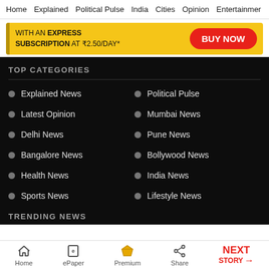Home  Explained  Political Pulse  India  Cities  Opinion  Entertainment
[Figure (infographic): Yellow advertisement banner: WITH AN EXPRESS SUBSCRIPTION AT ₹2.50/DAY* BUY NOW]
TOP CATEGORIES
Explained News
Political Pulse
Latest Opinion
Mumbai News
Delhi News
Pune News
Bangalore News
Bollywood News
Health News
India News
Sports News
Lifestyle News
TRENDING NEWS
Home  ePaper  Premium  Share  NEXT STORY